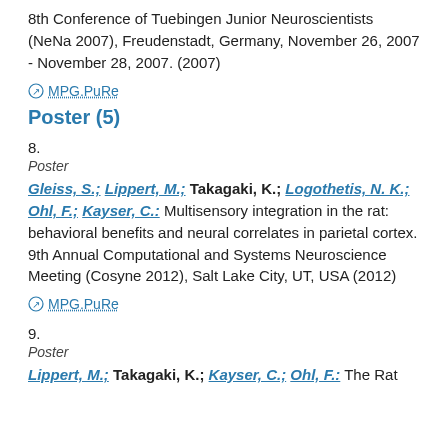8th Conference of Tuebingen Junior Neuroscientists (NeNa 2007), Freudenstadt, Germany, November 26, 2007 - November 28, 2007. (2007)
⊙ MPG.PuRe
Poster (5)
8.
Poster
Gleiss, S.; Lippert, M.; Takagaki, K.; Logothetis, N. K.; Ohl, F.; Kayser, C.: Multisensory integration in the rat: behavioral benefits and neural correlates in parietal cortex. 9th Annual Computational and Systems Neuroscience Meeting (Cosyne 2012), Salt Lake City, UT, USA (2012)
⊙ MPG.PuRe
9.
Poster
Lippert, M.; Takagaki, K.; Kayser, C.; Ohl, F.: The Rat...